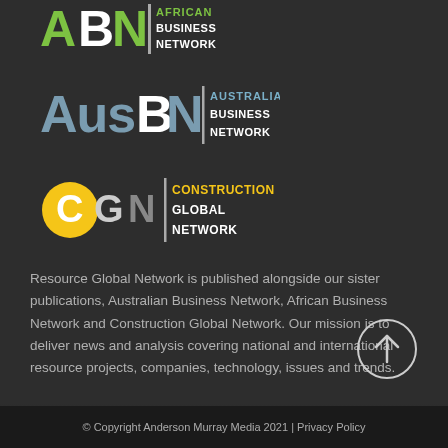[Figure (logo): African Business Network (ABN) logo with green lettering and icon]
[Figure (logo): Australian Business Network (AusBN) logo with blue-grey lettering]
[Figure (logo): Construction Global Network (CGN) logo with yellow C icon and white/yellow text]
Resource Global Network is published alongside our sister publications, Australian Business Network, African Business Network and Construction Global Network. Our mission is to deliver news and analysis covering national and international resource projects, companies, technology, issues and trends.
© Copyright Anderson Murray Media 2021 | Privacy Policy